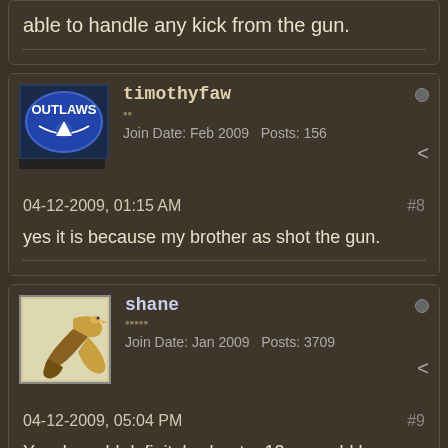able to handle any kick from the gun.
timothyfaw
Join Date: Feb 2009  Posts: 156
04-12-2009, 01:15 AM  #8
yes it is because my brother as shot the gun.
shane
Join Date: Jan 2009  Posts: 3709
04-12-2009, 05:04 PM  #9
Yes, I would definitely shoot a 12 year old boy...